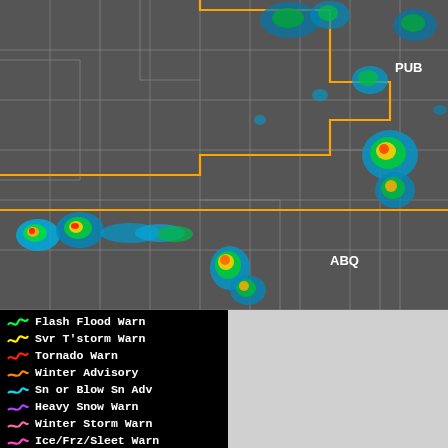[Figure (map): Weather radar map showing storm cells (green/yellow/red) over southwestern United States (New Mexico, Colorado region). Orange outlined warning/advisory region overlaid. Location labels: PUB (upper right area), ABQ (lower center). Orange boundary lines mark NWS warning areas.]
[Figure (infographic): Legend on black background listing weather warning types with colored wavy line icons: Flash Flood Warn (green), Svr T'storm Warn (yellow), Tornado Warn (red), Winter Advisory (orange), Sn or Blow Sn Adv (cyan/blue), Heavy Snow Warn (purple), Winter Storm Warn (pink), Ice/Frz/Sleet Warn (pink/magenta), Blizzard Warn (dark red)]
Warnings Valid at: 31 Aug 2022 03:47 PM CDT
GA  Flood Advisory (View Text) expires 06:45 PM by TAE (EB)